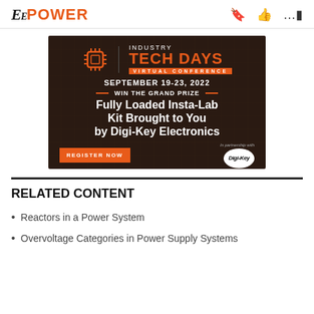EE POWER
[Figure (infographic): Industry Tech Days Virtual Conference advertisement banner. September 19-23, 2022. Win the Grand Prize: Fully Loaded Insta-Lab Kit Brought to You by Digi-Key Electronics. Register Now button. In partnership with Digi-Key Electronics logo.]
RELATED CONTENT
Reactors in a Power System
Overvoltage Categories in Power Supply Systems